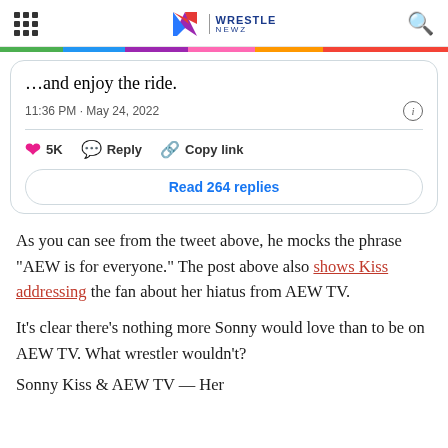WrestleNewz
[Figure (screenshot): Tweet screenshot showing partial tweet text 'and enjoy the ride.' with timestamp 11:36 PM · May 24, 2022, 5K likes, Reply, Copy link actions, and Read 264 replies button]
As you can see from the tweet above, he mocks the phrase “AEW is for everyone.” The post above also shows Kiss addressing the fan about her hiatus from AEW TV.
It’s clear there’s nothing more Sonny would love than to be on AEW TV. What wrestler wouldn’t?
Sonny Kiss & AEW TV — Her